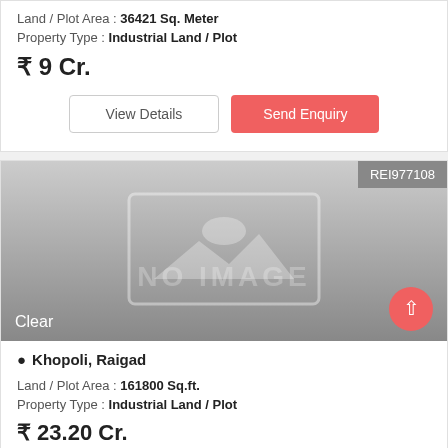Land / Plot Area : 36421 Sq. Meter
Property Type : Industrial Land / Plot
₹ 9 Cr.
View Details
Send Enquiry
[Figure (other): No image placeholder with grey gradient background showing placeholder image icon and NO IMAGE text, with REI977108 badge top right, Clear label bottom left, and pink up-arrow button bottom right]
Khopoli, Raigad
Land / Plot Area : 161800 Sq.ft.
Property Type : Industrial Land / Plot
₹ 23.20 Cr.